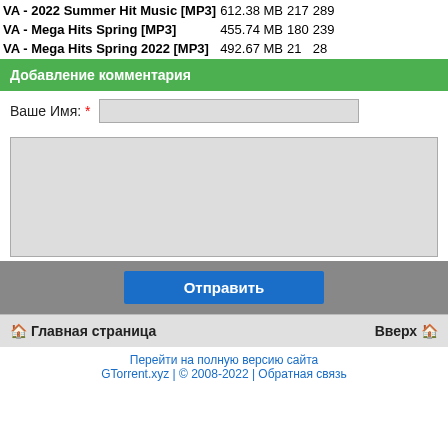| Name | Size | Seeds | Leeches |
| --- | --- | --- | --- |
| VA - 2022 Summer Hit Music [MP3] | 612.38 MB | 217 | 289 |
| VA - Mega Hits Spring [MP3] | 455.74 MB | 180 | 239 |
| VA - Mega Hits Spring 2022 [MP3] | 492.67 MB | 21 | 28 |
Добавление комментария
Ваше Имя: *
[Figure (screenshot): Comment submission form with name input field and large textarea for comment text, plus a Submit button (Отправить)]
🏠 Главная страница    Вверх 🏠
Перейти на полную версию сайта
GTorrent.xyz | © 2008-2022 | Обратная связь